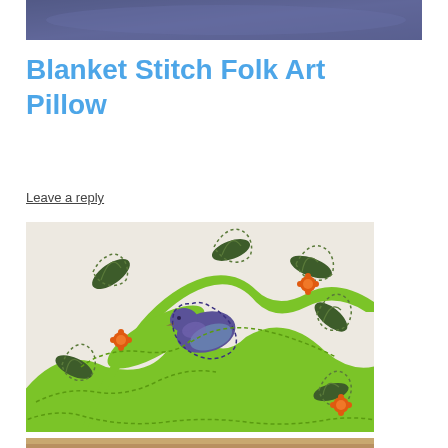[Figure (photo): Top portion of a photo with blue/purple fabric or background visible at the top of the page]
Blanket Stitch Folk Art Pillow
Leave a reply
[Figure (photo): Close-up photo of a folk art felt pillow showing blanket stitch appliqué with green branches, dark green leaves with blanket stitch edging, a purple/blue bird, and small orange flower embellishments on a cream/beige felt background]
[Figure (photo): Bottom strip of another photo partially visible at the bottom edge of the page]